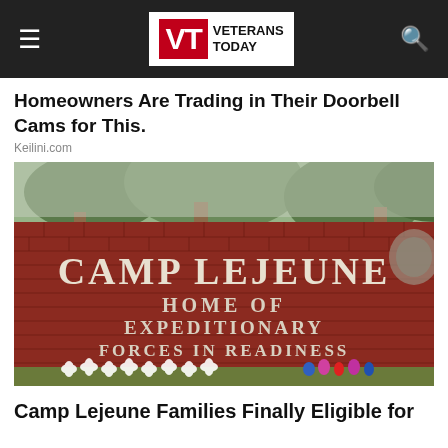Veterans Today — navigation bar with logo
Homeowners Are Trading in Their Doorbell Cams for This.
Keilini.com
[Figure (photo): Photograph of the Camp Lejeune entrance sign — a large red brick wall with white letters reading 'CAMP LEJEUNE HOME OF EXPEDITIONARY FORCES IN READINESS', with flower memorials at the base and trees in the background.]
Camp Lejeune Families Finally Eligible for